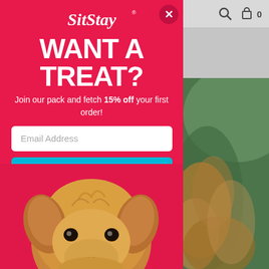SitStay
WANT A TREAT?
Join our pack and fetch 15% off your first order!
[Figure (screenshot): Email address input field with white background and placeholder text 'Email Address']
I'M IN!
I'm not interested.
[Figure (photo): Close-up photo of a fluffy golden/tan terrier mix dog looking up at the camera with soft brown eyes]